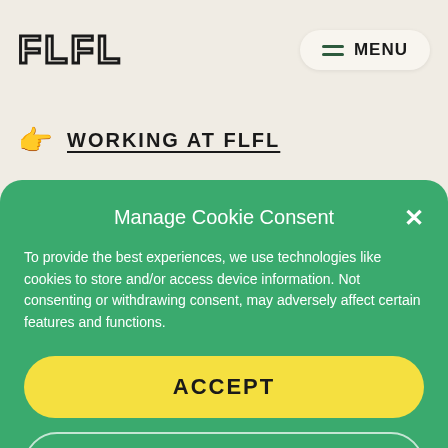FLFL
WORKING AT FLFL
Manage Cookie Consent
To provide the best experiences, we use technologies like cookies to store and/or access device information. Not consenting or withdrawing consent, may adversely affect certain features and functions.
ACCEPT
DENY
Cookie Policy